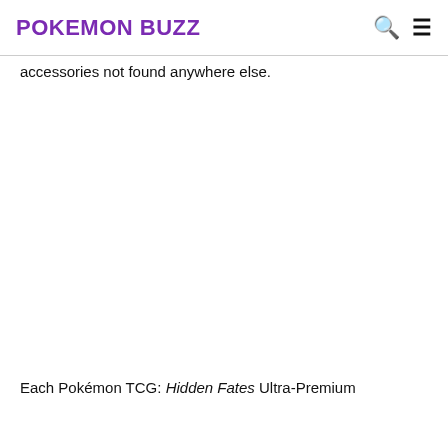POKEMON BUZZ
accessories not found anywhere else.
Each Pokémon TCG: Hidden Fates Ultra-Premium